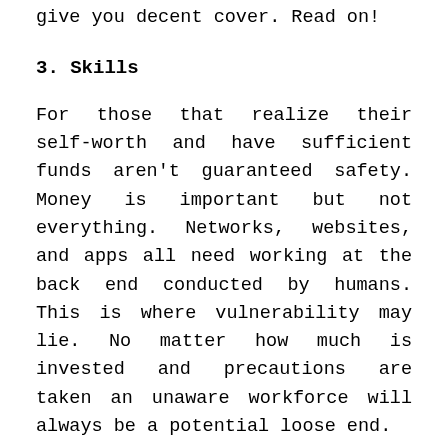give you decent cover. Read on!
3. Skills
For those that realize their self-worth and have sufficient funds aren't guaranteed safety. Money is important but not everything. Networks, websites, and apps all need working at the back end conducted by humans. This is where vulnerability may lie. No matter how much is invested and precautions are taken an unaware workforce will always be a potential loose end.
This ever-evolving world demands change. Not only for good but from those who want to combini it into there as well...